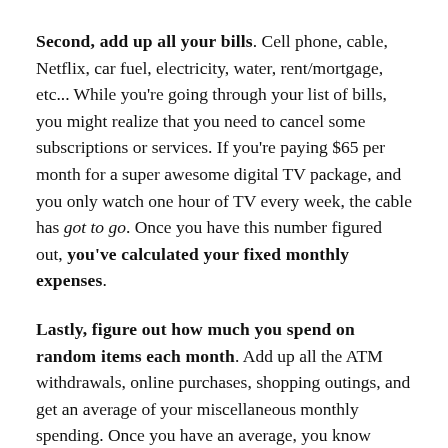Second, add up all your bills. Cell phone, cable, Netflix, car fuel, electricity, water, rent/mortgage, etc... While you're going through your list of bills, you might realize that you need to cancel some subscriptions or services. If you're paying $65 per month for a super awesome digital TV package, and you only watch one hour of TV every week, the cable has got to go. Once you have this number figured out, you've calculated your fixed monthly expenses.
Lastly, figure out how much you spend on random items each month. Add up all the ATM withdrawals, online purchases, shopping outings, and get an average of your miscellaneous monthly spending. Once you have an average, you know approximately what you're spending each month on random things. If you haven't looked at this in a while, it's likely that it will shock you.